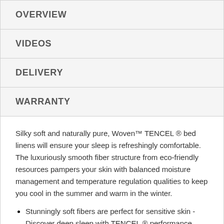OVERVIEW
VIDEOS
DELIVERY
WARRANTY
Silky soft and naturally pure, Woven™ TENCEL ® bed linens will ensure your sleep is refreshingly comfortable. The luxuriously smooth fiber structure from eco-friendly resources pampers your skin with balanced moisture management and temperature regulation qualities to keep you cool in the summer and warm in the winter.
Stunningly soft fibers are perfect for sensitive skin - Discover deep sleep with TENCEL ® performance sheets.